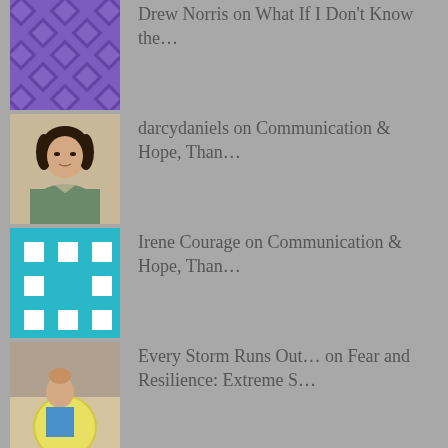Drew Norris on What If I Don't Know the…
darcydaniels on Communication & Hope, Than…
Irene Courage on Communication & Hope, Than…
Every Storm Runs Out… on Fear and Resilience: Extreme S…
Every Storm Runs Out… on The Cost of Living Vibrantly
ARCHIVES
September 2021
April 2020